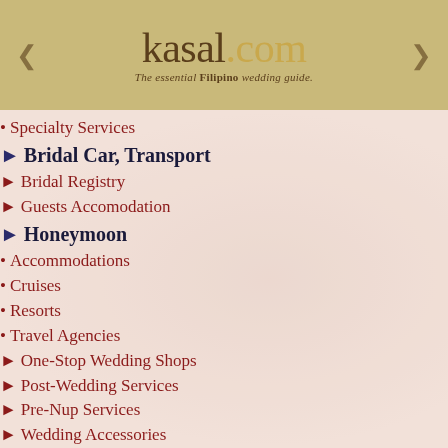kasal.com - The essential Filipino wedding guide
Specialty Services
Bridal Car, Transport
Bridal Registry
Guests Accomodation
Honeymoon
Accommodations
Cruises
Resorts
Travel Agencies
One-Stop Wedding Shops
Post-Wedding Services
Pre-Nup Services
Wedding Accessories
Wedding Attire
Bridal Gowns
Groom's Attire, Barong Tagalog